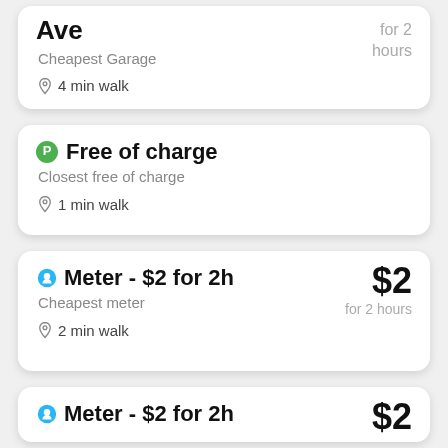Ave – Cheapest Garage – 4 min walk – for 2 hours
Free of charge – Closest free of charge – 1 min walk
Meter - $2 for 2h – Cheapest meter – 2 min walk – $2 for 2 hours
Meter - $2 for 2h – $2